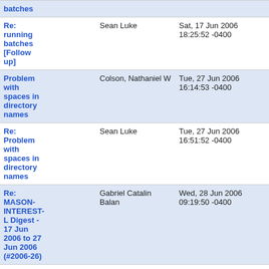| Subject | From | Date | Lines |
| --- | --- | --- | --- |
| batches |  |  |  |
| Re: running batches [Follow up] | Sean Luke | Sat, 17 Jun 2006 18:25:52 -0400 | 30 lin |
| Problem with spaces in directory names | Colson, Nathaniel W | Tue, 27 Jun 2006 16:14:53 -0400 | 23 lin |
| Re: Problem with spaces in directory names | Sean Luke | Tue, 27 Jun 2006 16:51:52 -0400 | 49 lin |
| Re: MASON-INTEREST-L Digest - 17 Jun 2006 to 27 Jun 2006 (#2006-26) | Gabriel Catalin Balan | Wed, 28 Jun 2006 09:19:50 -0400 | 103 lin |
| Re: MASON-INTEREST-L Di... |  |  |  |